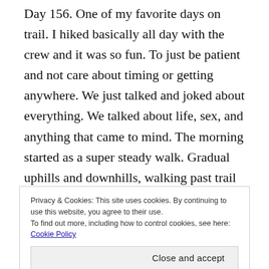Day 156. One of my favorite days on trail. I hiked basically all day with the crew and it was so fun. To just be patient and not care about timing or getting anywhere. We just talked and joked about everything. We talked about life, sex, and anything that came to mind. The morning started as a super steady walk. Gradual uphills and downhills, walking past trail junctions and lakes. Walking by huckleberries that you can just try and grab as you walk by to eat. They're easily my new favorite fruit. I remember us stopped at Trout Creek for a few minutes just to chat and regroup.
Privacy & Cookies: This site uses cookies. By continuing to use this website, you agree to their use.
To find out more, including how to control cookies, see here: Cookie Policy
Close and accept
...